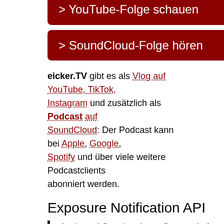> YouTube-Folge schauen
> SoundCloud-Folge hören
eicker.TV gibt es als Vlog auf YouTube, TikTok, Instagram und zusätzlich als Podcast auf SoundCloud: Der Podcast kann bei Apple, Google, Spotify und über viele weitere Podcastclients abonniert werden.
Exposure Notification API
„Apple and Google release first seed of COVID-19 exposure notification API for contact tracing app developers – Apple and Google have released the first version of their exposure notification API, which they previously called the contact tracing API. This is a developer-focused release, and is a